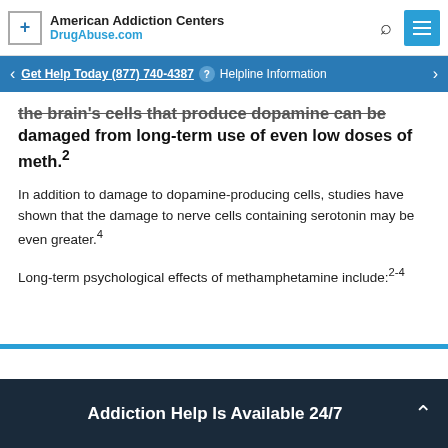American Addiction Centers DrugAbuse.com
Get Help Today (877) 740-4387 ? Helpline Information
the brain's cells that produce dopamine can be damaged from long-term use of even low doses of meth.2
In addition to damage to dopamine-producing cells, studies have shown that the damage to nerve cells containing serotonin may be even greater.4
Long-term psychological effects of methamphetamine include:2-4
Addiction Help Is Available 24/7